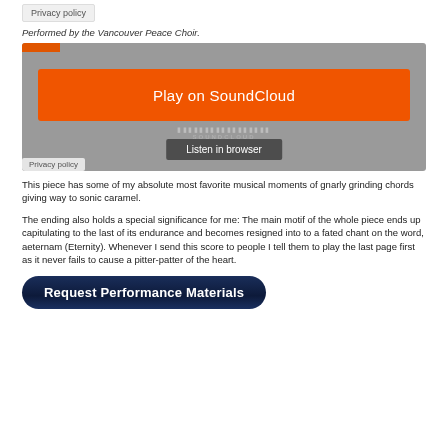Privacy policy
Performed by the Vancouver Peace Choir.
[Figure (screenshot): SoundCloud embedded player widget with orange 'Play on SoundCloud' button, waveform, 'Listen in browser' overlay button, and 'Privacy policy' label at bottom left.]
This piece has some of my absolute most favorite musical moments of gnarly grinding chords giving way to sonic caramel.
The ending also holds a special significance for me: The main motif of the whole piece ends up capitulating to the last of its endurance and becomes resigned into to a fated chant on the word, aeternam (Eternity). Whenever I send this score to people I tell them to play the last page first as it never fails to cause a pitter-patter of the heart.
[Figure (screenshot): Dark navy rounded button labeled 'Request Performance Materials' in bold white text.]